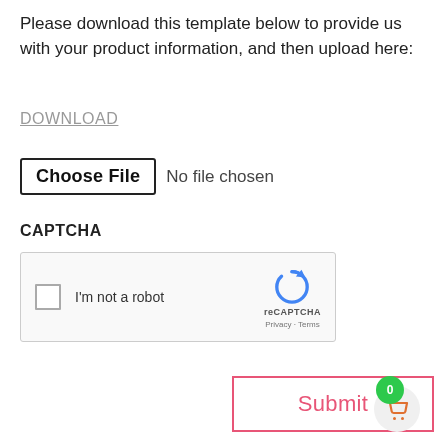Please download this template below to provide us with your product information, and then upload here:
DOWNLOAD
[Figure (screenshot): File input row showing 'Choose File' button and 'No file chosen' text]
CAPTCHA
[Figure (screenshot): reCAPTCHA widget with checkbox and 'I'm not a robot' label, reCAPTCHA logo, Privacy and Terms links]
[Figure (screenshot): Submit button with pink/red border and text, shopping cart icon with green badge showing 0]